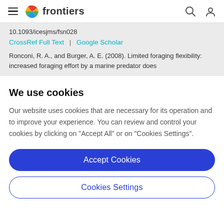frontiers
10.1093/icesjms/fsn028
CrossRef Full Text | Google Scholar
Ronconi, R. A., and Burger, A. E. (2008). Limited foraging flexibility: increased foraging effort by a marine predator does
We use cookies
Our website uses cookies that are necessary for its operation and to improve your experience. You can review and control your cookies by clicking on "Accept All" or on "Cookies Settings".
Accept Cookies
Cookies Settings